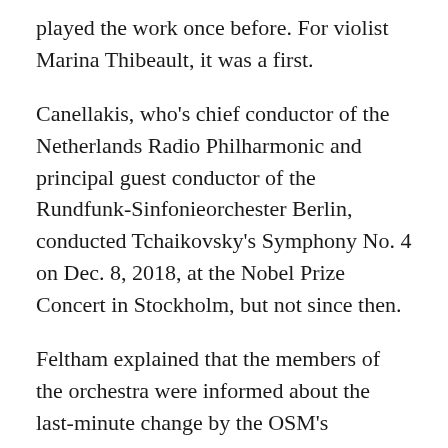played the work once before. For violist Marina Thibeault, it was a first.
Canellakis, who's chief conductor of the Netherlands Radio Philharmonic and principal guest conductor of the Rundfunk-Sinfonieorchester Berlin, conducted Tchaikovsky's Symphony No. 4 on Dec. 8, 2018, at the Nobel Prize Concert in Stockholm, but not since then.
Feltham explained that the members of the orchestra were informed about the last-minute change by the OSM's personnel manager Jean Gaudreault at 8:02 p.m., when they were already onstage. "Jean walks out with this funny half smile on his face and starts talking to the principal strings, telling them to spread the news. [OSM librarian] Michel Leonard was following him with the parts and had them all handed out before